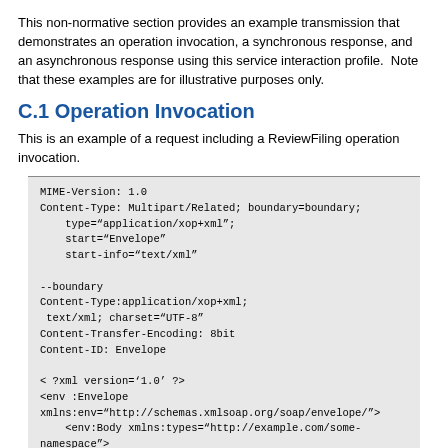This non-normative section provides an example transmission that demonstrates an operation invocation, a synchronous response, and an asynchronous response using this service interaction profile.  Note that these examples are for illustrative purposes only.
C.1 Operation Invocation
This is an example of a request including a ReviewFiling operation invocation.
MIME-Version: 1.0
Content-Type: Multipart/Related; boundary=boundary;
    type="application/xop+xml";
    start="Envelope"
    start-info="text/xml"

--boundary
Content-Type:application/xop+xml;
 text/xml; charset="UTF-8"
Content-Transfer-Encoding: 8bit
Content-ID: Envelope

< ?xml version='1.0' ?>
<env :Envelope
xmlns:env="http://schemas.xmlsoap.org/soap/envelope/">
    <env:Body xmlns:types="http://example.com/some-namespace">
          <wrappers:ReviewFilingRequest>

                <filing:FilingMessage>
                    ...
                </filing:FilingMessage>